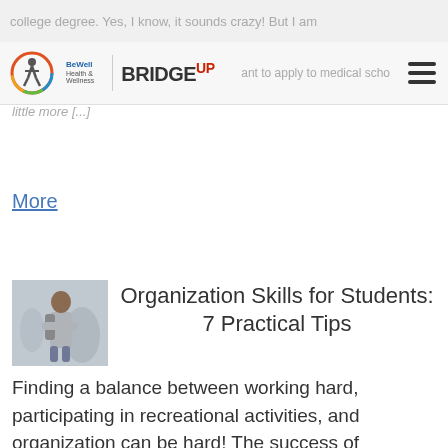college degree. Yes, I know, it sounds crazy! But I am
[Figure (logo): BeWell Health & Wellness and BridgeUp logos with navigation bar]
little more [...]
More
[Figure (photo): Student with backpack and crossed arms]
Organization Skills for Students: 7 Practical Tips
Finding a balance between working hard, participating in recreational activities, and organization can be hard! The success of students has been proven to be correlated with their organizational skills. This article outlines 7 methods to staying organized inside and outside of school. Organizing documents and handouts in designated